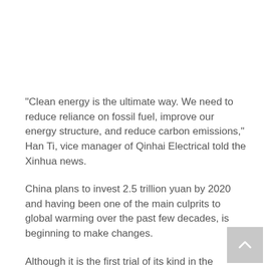“Clean energy is the ultimate way. We need to reduce reliance on fossil fuel, improve our energy structure, and reduce carbon emissions,” Han Ti, vice manager of Qinhai Electrical told the Xinhua news.
China plans to invest 2.5 trillion yuan by 2020 and having been one of the main culprits to global warming over the past few decades, is beginning to make changes.
Although it is the first trial of its kind in the country, it is a welcome start to creating a cleaner environment for its citizens.